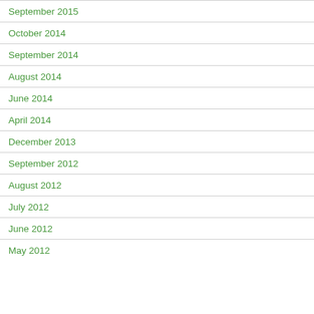September 2015
October 2014
September 2014
August 2014
June 2014
April 2014
December 2013
September 2012
August 2012
July 2012
June 2012
May 2012